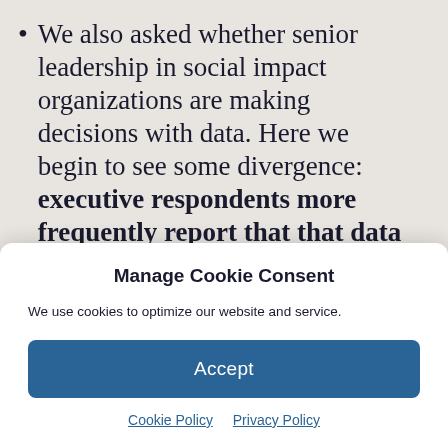We also asked whether senior leadership in social impact organizations are making decisions with data. Here we begin to see some divergence: executive respondents more frequently report that that data is less frequently used to make decisions. In contrast, respondents in data roles were more optimistic
Manage Cookie Consent
We use cookies to optimize our website and service.
Accept
Cookie Policy  Privacy Policy